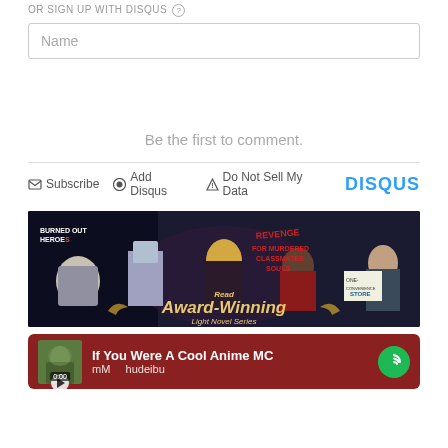OR SIGN UP WITH DISQUS (?)
Name
Be the first to comment.
Subscribe  Add Disqus  Do Not Sell My Data  DISQUS
[Figure (illustration): Banner advertisement for Award-Winning Light Novel Series featuring anime-style characters]
[Figure (screenshot): Spotify music player bar showing 'If You Were A Cool Anime MC' by mMarchudeibu, with play button and 0:00 timestamp]